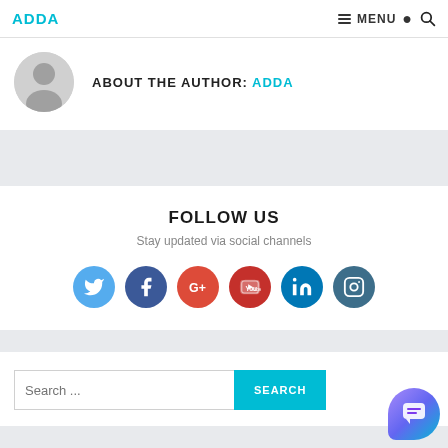ADDA | MENU
ABOUT THE AUTHOR: ADDA
[Figure (illustration): Gray circular avatar/profile placeholder icon]
FOLLOW US
Stay updated via social channels
[Figure (infographic): Row of six social media icons: Twitter (blue), Facebook (dark blue), Google+ (red), YouTube (red), LinkedIn (blue), Instagram (dark teal)]
Search ...
[Figure (illustration): Purple-blue gradient chat bubble widget in bottom right corner]